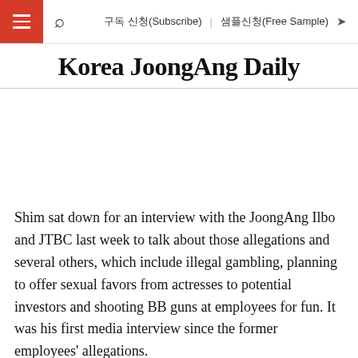구독 신청(Subscribe)  샘플신청(Free Sample)
Korea JoongAng Daily
Shim sat down for an interview with the JoongAng Ilbo and JTBC last week to talk about those allegations and several others, which include illegal gambling, planning to offer sexual favors from actresses to potential investors and shooting BB guns at employees for fun. It was his first media interview since the former employees' allegations.